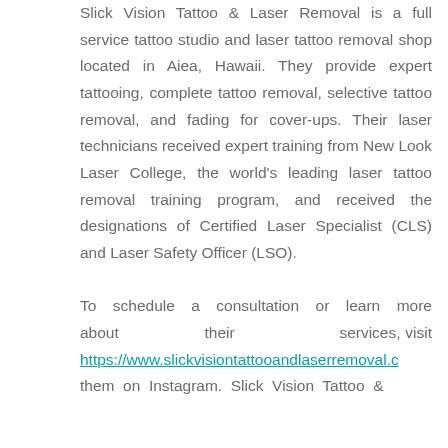Slick Vision Tattoo & Laser Removal is a full service tattoo studio and laser tattoo removal shop located in Aiea, Hawaii. They provide expert tattooing, complete tattoo removal, selective tattoo removal, and fading for cover-ups. Their laser technicians received expert training from New Look Laser College, the world's leading laser tattoo removal training program, and received the designations of Certified Laser Specialist (CLS) and Laser Safety Officer (LSO).

To schedule a consultation or learn more about their services, visit https://www.slickvisiontattooandlaserremoval.c… them on Instagram. Slick Vision Tattoo &